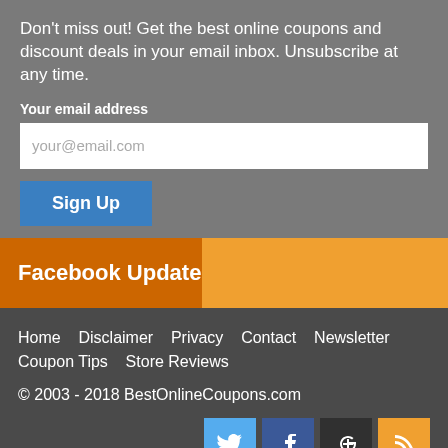Don't miss out! Get the best online coupons and discount deals in your email inbox. Unsubscribe at any time.
Your email address
your@email.com
Sign Up
Facebook Updates
Home   Disclaimer   Privacy   Contact   Newsletter   Coupon Tips   Store Reviews
© 2003 - 2018 BestOnlineCoupons.com
[Figure (infographic): Social media icons: Twitter, Facebook, Google+, RSS feed]